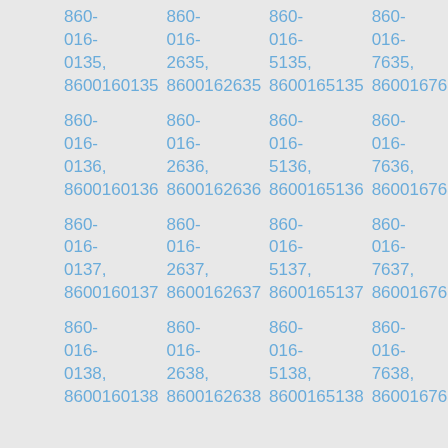860-016-0135, 8600160135  860-016-2635, 8600162635  860-016-5135, 8600165135  860-016-7635, 8600167635  860-016-0136, 8600160136  860-016-2636, 8600162636  860-016-5136, 8600165136  860-016-7636, 8600167636  860-016-0137, 8600160137  860-016-2637, 8600162637  860-016-5137, 8600165137  860-016-7637, 8600167637  860-016-0138, 8600160138  860-016-2638, 8600162638  860-016-5138, 8600165138  860-016-7638, 8600167638